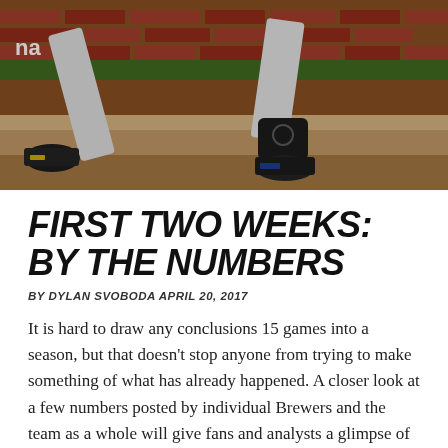[Figure (photo): Close-up photo of a baseball player's legs and cleats running on a dirt infield, with a brick wall and green grass visible in the background. The player is wearing gray baseball pants and black cleats with an ankle brace on the right leg.]
FIRST TWO WEEKS: BY THE NUMBERS
BY DYLAN SVOBODA APRIL 20, 2017
It is hard to draw any conclusions 15 games into a season, but that doesn't stop anyone from trying to make something of what has already happened. A closer look at a few numbers posted by individual Brewers and the team as a whole will give fans and analysts a glimpse of how the season has played out thus far, and possibly how the final 147 games will go.